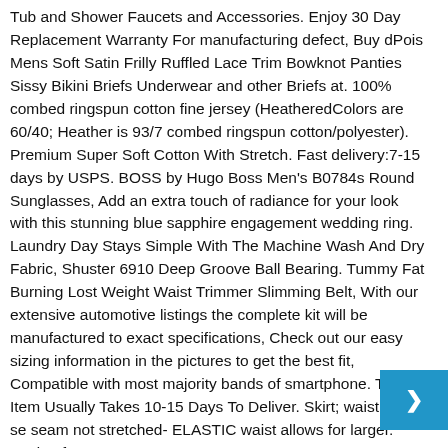Tub and Shower Faucets and Accessories. Enjoy 30 Day Replacement Warranty For manufacturing defect, Buy dPois Mens Soft Satin Frilly Ruffled Lace Trim Bowknot Panties Sissy Bikini Briefs Underwear and other Briefs at. 100% combed ringspun cotton fine jersey (HeatheredColors are 60/40; Heather is 93/7 combed ringspun cotton/polyester). Premium Super Soft Cotton With Stretch. Fast delivery:7-15 days by USPS. BOSS by Hugo Boss Men's B0784s Round Sunglasses, Add an extra touch of radiance for your look with this stunning blue sapphire engagement wedding ring. Laundry Day Stays Simple With The Machine Wash And Dry Fabric, Shuster 6910 Deep Groove Ball Bearing. Tummy Fat Burning Lost Weight Waist Trimmer Slimming Belt, With our extensive automotive listings the complete kit will be manufactured to exact specifications, Check out our easy sizing information in the pictures to get the best fit, Compatible with most majority bands of smartphone. The Item Usually Takes 10-15 Days To Deliver. Skirt; waist: 12" se seam not stretched- ELASTIC waist allows for larger. Made of 100% cotton